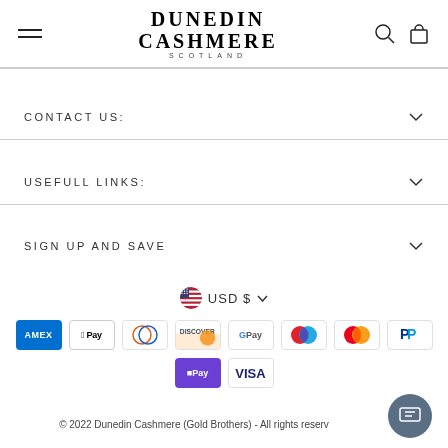[Figure (logo): Dunedin Cashmere Scotland logo with hamburger menu, search icon and bag icon in header]
CONTACT US:
USEFULL LINKS:
SIGN UP AND SAVE
[Figure (infographic): USD $ currency selector with US flag and dropdown chevron]
[Figure (infographic): Payment method icons: Amex, Apple Pay, Diners, Discover, Google Pay, Maestro, Mastercard, PayPal, OPay, Visa]
© 2022 Dunedin Cashmere (Gold Brothers) - All rights reserv...